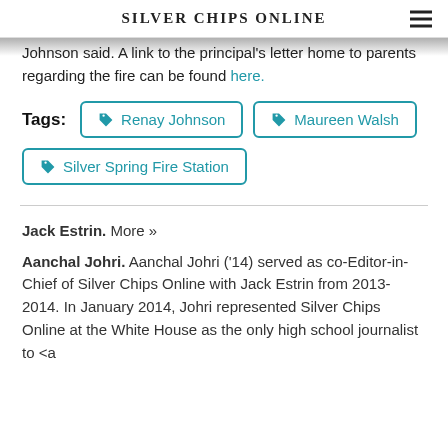Silver Chips Online
Johnson said. A link to the principal's letter home to parents regarding the fire can be found here.
Tags: Renay Johnson  Maureen Walsh  Silver Spring Fire Station
Jack Estrin. More »
Aanchal Johri. Aanchal Johri ('14) served as co-Editor-in-Chief of Silver Chips Online with Jack Estrin from 2013-2014. In January 2014, Johri represented Silver Chips Online at the White House as the only high school journalist to <a